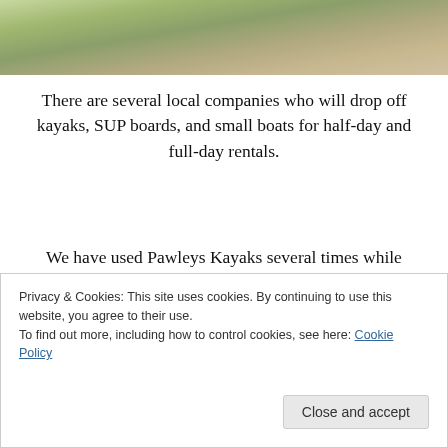[Figure (photo): Partial photo of outdoor scene with greenery and sandy/rocky ground, cropped at top of page]
There are several local companies who will drop off kayaks, SUP boards, and small boats for half-day and full-day rentals.
We have used Pawleys Kayaks several times while paddling with friends or fishing for the day on Pawleys Island. They drop off and pick up right on the island. It’s super convenient and makes for a great beach date.
Privacy & Cookies: This site uses cookies. By continuing to use this website, you agree to their use.
To find out more, including how to control cookies, see here: Cookie Policy